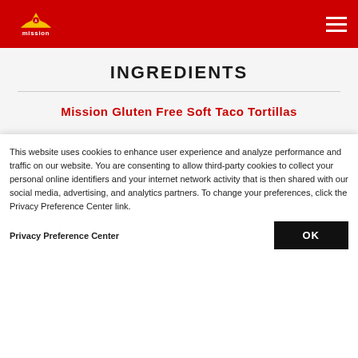Mission logo and navigation header
INGREDIENTS
Mission Gluten Free Soft Taco Tortillas
This website uses cookies to enhance user experience and analyze performance and traffic on our website. You are consenting to allow third-party cookies to collect your personal online identifiers and your internet network activity that is then shared with our social media, advertising, and analytics partners. To change your preferences, click the Privacy Preference Center link.
Privacy Preference Center
OK